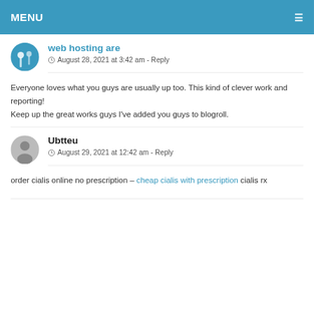MENU
web hosting are
August 28, 2021 at 3:42 am - Reply
Everyone loves what you guys are usually up too. This kind of clever work and reporting!
Keep up the great works guys I've added you guys to blogroll.
Ubtteu
August 29, 2021 at 12:42 am - Reply
order cialis online no prescription – cheap cialis with prescription cialis rx